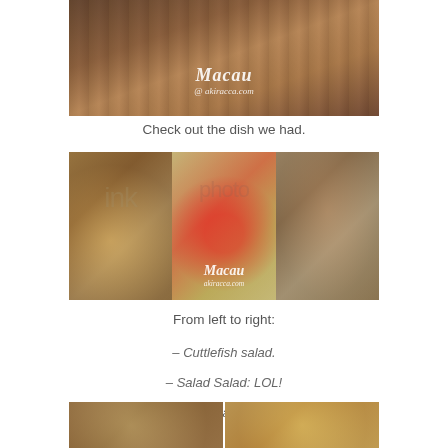[Figure (photo): Photo of people on what appears to be a tram or ferry with a Macau watermark and akiracca.com URL]
Check out the dish we had.
[Figure (photo): Collage of three food photos: cuttlefish salad, tomato salad, and fresh steamed clam, with Macau watermark]
From left to right:
– Cuttlefish salad.
– Salad Salad: LOL!
– Fresh Steamed Clam.
[Figure (photo): Two more food photos partially visible at the bottom of the page]